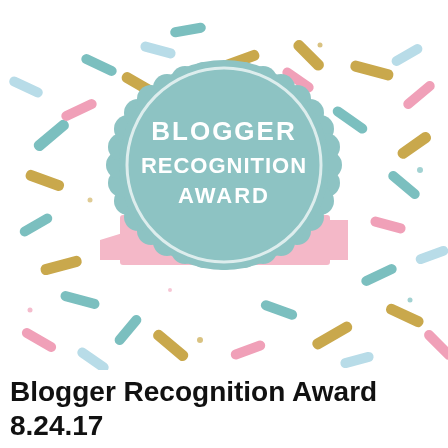[Figure (illustration): Blogger Recognition Award badge illustration: a scalloped-edge teal/mint circular badge with 'BLOGGER RECOGNITION AWARD' text in white, overlaid with a pink ribbon banner, set against a white background with colorful confetti sprinkles (teal, gold/yellow, pink, light blue).]
Blogger Recognition Award 8.24.17